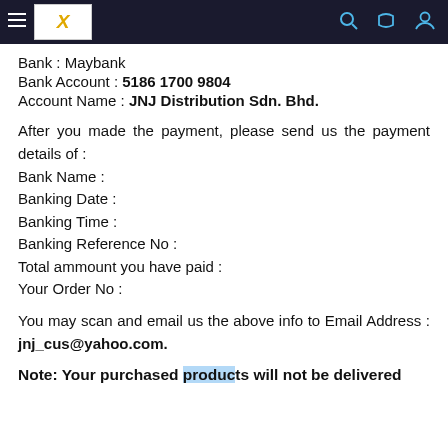Header navigation bar with logo and icons
Bank : Maybank
Bank Account : 5186 1700 9804
Account Name : JNJ Distribution Sdn. Bhd.
After you made the payment, please send us the payment details of :
Bank Name :
Banking Date :
Banking Time :
Banking Reference No :
Total ammount you have paid :
Your Order No :
You may scan and email us the above info to Email Address : jnj_cus@yahoo.com.
Note: Your purchased products will not be delivered